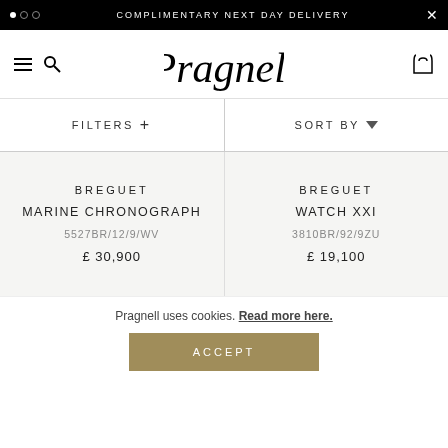COMPLIMENTARY NEXT DAY DELIVERY
[Figure (logo): Pragnell script logo]
FILTERS +
SORT BY
BREGUET
MARINE CHRONOGRAPH
5527BR/12/9/WV
£ 30,900
BREGUET
WATCH XXI
3810BR/92/9ZU
£ 19,100
Pragnell uses cookies. Read more here.
ACCEPT